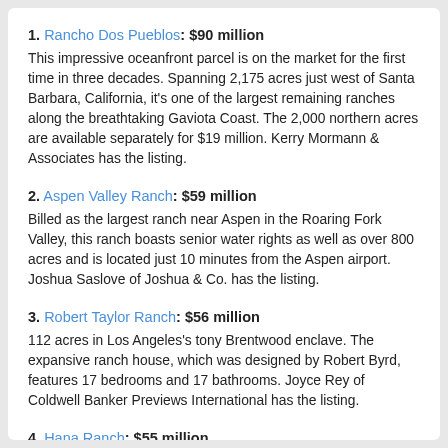1. Rancho Dos Pueblos: $90 million
This impressive oceanfront parcel is on the market for the first time in three decades. Spanning 2,175 acres just west of Santa Barbara, California, it's one of the largest remaining ranches along the breathtaking Gaviota Coast. The 2,000 northern acres are available separately for $19 million. Kerry Mormann & Associates has the listing.
2. Aspen Valley Ranch: $59 million
Billed as the largest ranch near Aspen in the Roaring Fork Valley, this ranch boasts senior water rights as well as over 800 acres and is located just 10 minutes from the Aspen airport. Joshua Saslove of Joshua & Co. has the listing.
3. Robert Taylor Ranch: $56 million
112 acres in Los Angeles's tony Brentwood enclave. The expansive ranch house, which was designed by Robert Byrd, features 17 bedrooms and 17 bathrooms. Joyce Rey of Coldwell Banker Previews International has the listing.
4. Hana Ranch: $55 million
This 4,500-acre working ranch on eastern Maui surrounds the town of Hana. The property boasts two miles of Pacific oceanfront and rises 2,200 feet up the slopes of majestic Haleakala. Dan Omer of Island Sotheby's International Realty has the listing.